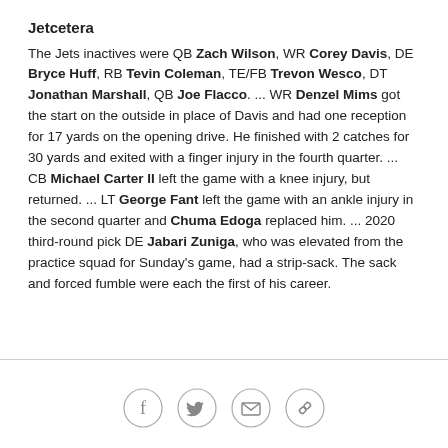Jetcetera
The Jets inactives were QB Zach Wilson, WR Corey Davis, DE Bryce Huff, RB Tevin Coleman, TE/FB Trevon Wesco, DT Jonathan Marshall, QB Joe Flacco. ... WR Denzel Mims got the start on the outside in place of Davis and had one reception for 17 yards on the opening drive. He finished with 2 catches for 30 yards and exited with a finger injury in the fourth quarter. ... CB Michael Carter II left the game with a knee injury, but returned. ... LT George Fant left the game with an ankle injury in the second quarter and Chuma Edoga replaced him. ... 2020 third-round pick DE Jabari Zuniga, who was elevated from the practice squad for Sunday's game, had a strip-sack. The sack and forced fumble were each the first of his career.
[Figure (other): Social sharing icons: Facebook, Twitter, Email, Link]